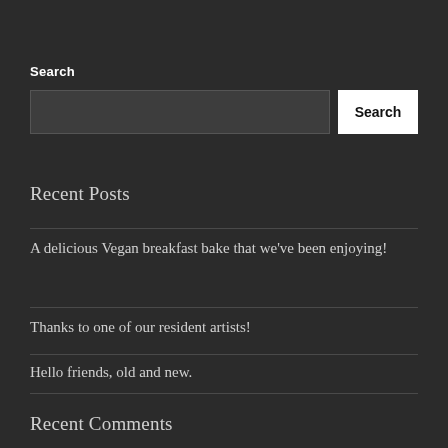Search
Search
Recent Posts
A delicious Vegan breakfast bake that we've been enjoying!
Thanks to one of our resident artists!
Hello friends, old and new.
Recent Comments